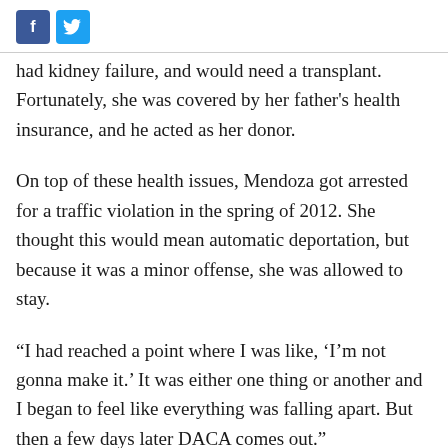[Figure (other): Social media share buttons: Facebook (blue square with 'f') and Twitter (light blue square with bird icon)]
had kidney failure, and would need a transplant. Fortunately, she was covered by her father's health insurance, and he acted as her donor.
On top of these health issues, Mendoza got arrested for a traffic violation in the spring of 2012. She thought this would mean automatic deportation, but because it was a minor offense, she was allowed to stay.
“I had reached a point where I was like, ‘I’m not gonna make it.’ It was either one thing or another and I began to feel like everything was falling apart. But then a few days later DACA comes out.”